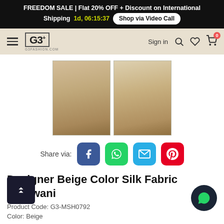FREEDOM SALE | Flat 20% OFF + Discount on International Shipping 1d, 06:15:37 Shop via Video Call
[Figure (screenshot): G3Fashion.com navigation bar with hamburger menu, G3+ logo, Sign in, search, wishlist, and cart icons]
[Figure (photo): Two product photos of a beige silk sherwani worn by male models]
Share via: Facebook, WhatsApp, Email, Pinterest
Designer Beige Color Silk Fabric Sherwani
Product Code: G3-MSH0792
Color: Beige
Rs 000  Rs 34999  (20% Off)
Dispatch in 20 DAYS
MAKE TO ORDER